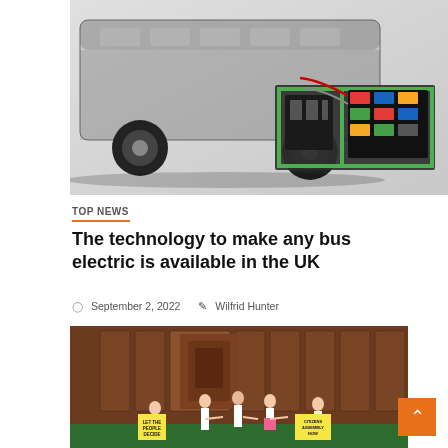[Figure (photo): Cutaway render of an electric bus showing green-framed electric drivetrain components beneath the chassis]
TOP NEWS
The technology to make any bus electric is available in the UK
September 2, 2022   Wilfrid Hunter
[Figure (photo): Protesters inside the UK House of Commons chamber holding signs reading LET THE PEOPLE DECIDE and CITIZENS ASSEMBLY NOW. A 1 min read badge overlays the top-left corner.]